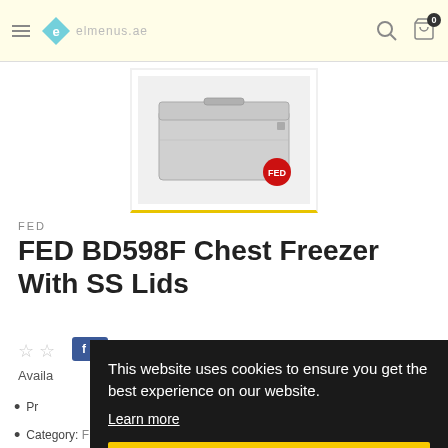FED — ecommerce website header with logo, hamburger menu, search icon, cart icon
[Figure (photo): FED BD598F Chest Freezer with stainless steel lids product photo thumbnail, bordered with yellow underline indicating selected state]
FED
FED BD598F Chest Freezer With SS Lids
☆ ☆
f S
Availa
Pr
Category: FED, Kitchen Equipment, F…
This website uses cookies to ensure you get the best experience on our website.
Learn more
Got it!